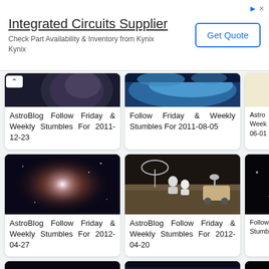[Figure (screenshot): Advertisement banner for Integrated Circuits Supplier - Kynix]
Integrated Circuits Supplier
Check Part Availability & Inventory from Kynix Kynix
Get Quote
[Figure (photo): Space/planet image - dark background]
AstroBlog Follow Friday & Weekly Stumbles For 2011-12-23
[Figure (photo): Earth from space with blue ocean and clouds]
Follow Friday & Weekly Stumbles For 2011-08-05
Astro... Weekly... 06-01
[Figure (photo): Space nebula / star forming region, colorful cosmic cloud]
AstroBlog Follow Friday & Weekly Stumbles For 2012-04-27
[Figure (photo): Astronauts and rover on lunar surface with satellite dish]
AstroBlog Follow Friday & Weekly Stumbles For 2012-04-20
Follow Stumb...
[Figure (photo): Orange planet / sun visible at bottom row]
[Figure (photo): Earth from space - bottom row center]
[Figure (photo): Dark space image - bottom row right, partially visible]